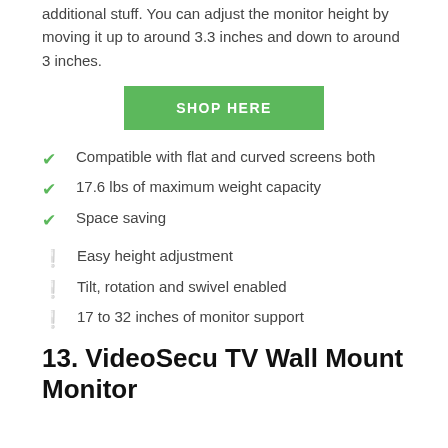additional stuff. You can adjust the monitor height by moving it up to around 3.3 inches and down to around 3 inches.
[Figure (other): Green SHOP HERE button]
Compatible with flat and curved screens both
17.6 lbs of maximum weight capacity
Space saving
Easy height adjustment
Tilt, rotation and swivel enabled
17 to 32 inches of monitor support
13. VideoSecu TV Wall Mount Monitor